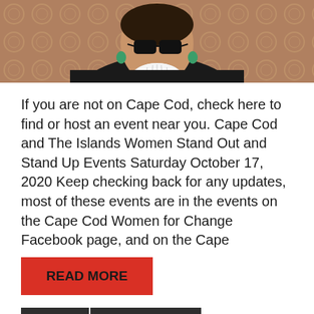[Figure (photo): Portrait photo of an elderly woman with large black glasses, green earrings, white lace jabot collar, and black robe, seated in a ornate chair — resembling Ruth Bader Ginsburg.]
If you are not on Cape Cod, check here to find or host an event near you. Cape Cod and The Islands Women Stand Out and Stand Up Events Saturday October 17, 2020 Keep checking back for any updates, most of these events are in the events on the Cape Cod Women for Change Facebook page, and on the Cape
READ MORE
abortion
Abortion Access